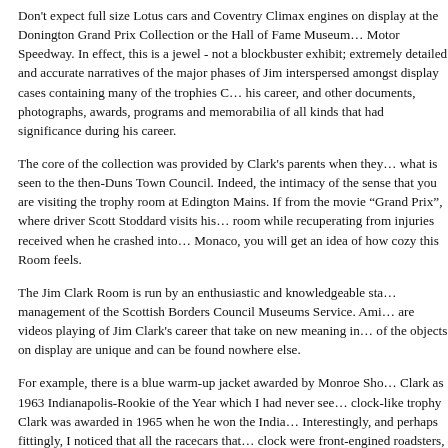Don't expect full size Lotus cars and Coventry Climax engines on display at the Donington Grand Prix Collection or the Hall of Fame Museum at Motor Speedway. In effect, this is a jewel - not a blockbuster exhibit; extremely detailed and accurate narratives of the major phases of Jim interspersed amongst display cases containing many of the trophies Clark won during his career, and other documents, photographs, awards, programs and memorabilia of all kinds that had significance during his career.
The core of the collection was provided by Clark's parents when they donated what is seen to the then-Duns Town Council. Indeed, the intimacy of the collection gives the sense that you are visiting the trophy room at Edington Mains. If you remember the scene from the movie "Grand Prix", where driver Scott Stoddard visits his childhood trophy room while recuperating from injuries received when he crashed into the barriers at Monaco, you will get an idea of how cozy this Room feels.
The Jim Clark Room is run by an enthusiastic and knowledgeable staff under the management of the Scottish Borders Council Museums Service. Amongst the exhibits are videos playing of Jim Clark's career that take on new meaning in this setting. Many of the objects on display are unique and can be found nowhere else.
For example, there is a blue warm-up jacket awarded by Monroe Shook to Clark as 1963 Indianapolis-Rookie of the Year which I had never seen before; a clock-like trophy Clark was awarded in 1965 when he won the Indianapolis 500. Interestingly, and perhaps fittingly, I noticed that all the racecars that adorned this clock were front-engined roadsters, the very machines Clark's 1965 victory caused the extinction.